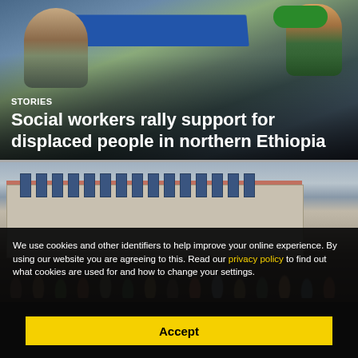[Figure (photo): People sitting at a blue table, working with papers and a laptop, one person wearing a green headwrap]
STORIES
Social workers rally support for displaced people in northern Ethiopia
[Figure (photo): A large building with red roof and many windows, with a crowd of people gathered in front of it outdoors]
We use cookies and other identifiers to help improve your online experience. By using our website you are agreeing to this. Read our privacy policy to find out what cookies are used for and how to change your settings.
Accept